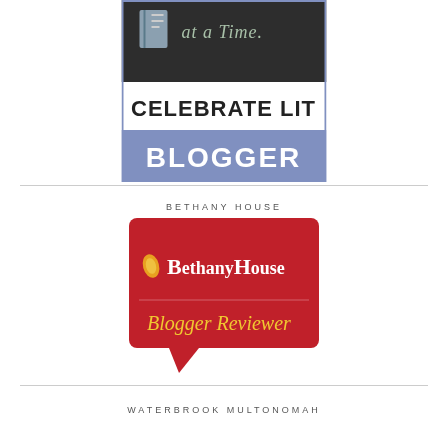[Figure (logo): Celebrate Lit Blogger badge: dark background with book graphic and cursive 'at a Time.' text, white panel with bold black 'CELEBRATE LIT', blue panel with bold white 'BLOGGER']
BETHANY HOUSE
[Figure (logo): BethanyHouse Blogger Reviewer badge: red speech bubble shape with white text 'BethanyHouse' and flame/leaf icon, yellow italic text 'Blogger Reviewer']
WATERBROOK MULTONOMAH